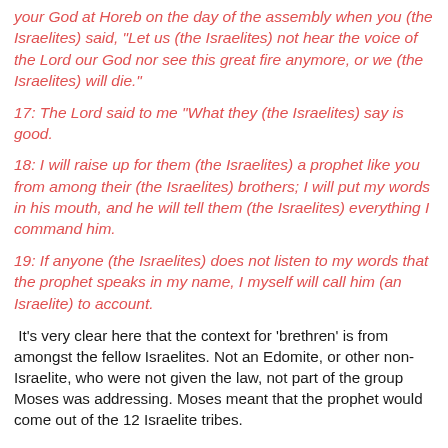your God at Horeb on the day of the assembly when you (the Israelites) said, "Let us (the Israelites) not hear the voice of the Lord our God nor see this great fire anymore, or we (the Israelites) will die."
17: The Lord said to me "What they (the Israelites) say is good.
18: I will raise up for them (the Israelites) a prophet like you from among their (the Israelites) brothers; I will put my words in his mouth, and he will tell them (the Israelites) everything I command him.
19: If anyone (the Israelites) does not listen to my words that the prophet speaks in my name, I myself will call him (an Israelite) to account.
It's very clear here that the context for 'brethren' is from amongst the fellow Israelites. Not an Edomite, or other non-Israelite, who were not given the law, not part of the group Moses was addressing. Moses meant that the prophet would come out of the 12 Israelite tribes.